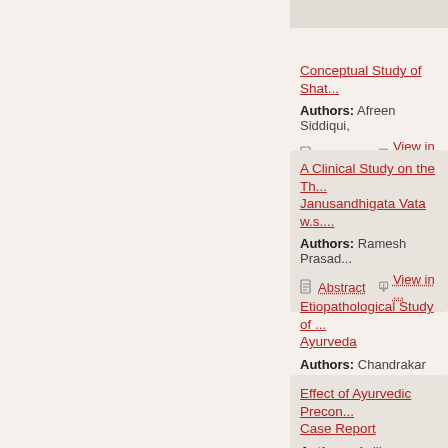Conceptual Study of Shat... | Authors: Afreen Siddiqui, | Abstract | View in ...
A Clinical Study on the Th... Janusandhigata Vata w.s.... | Authors: Ramesh Prasad... | Abstract | View in ...
Etiopathological Study of... Ayurveda | Authors: Chandrakar Yog... | Abstract | View in ...
Effect of Ayurvedic Precon... Case Report | Authors: Anilkumar Kala... Krishnarajabhatt